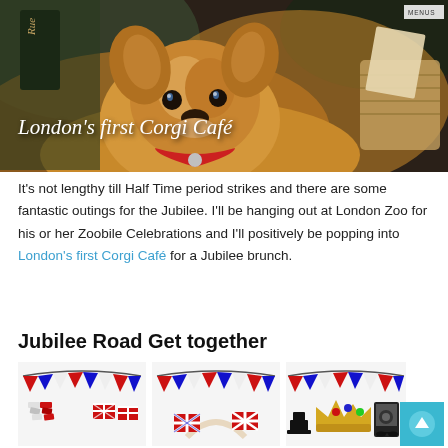[Figure (photo): Hero banner photo of a Corgi dog at a café setting with text 'London's first Corgi Café' overlaid in white italic serif font. A 'MENUS' button is visible in the top right corner.]
It's not lengthy till Half Time period strikes and there are some fantastic outings for the Jubilee. I'll be hanging out at London Zoo for his or her Zoobile Celebrations and I'll positively be popping into London's first Corgi Café for a Jubilee brunch.
Jubilee Road Get together
[Figure (photo): Three product photos showing Union Jack themed Jubilee party supplies: bunting flags, red/white/blue streamers with small flags headband, and a crown plus photo booth props set.]